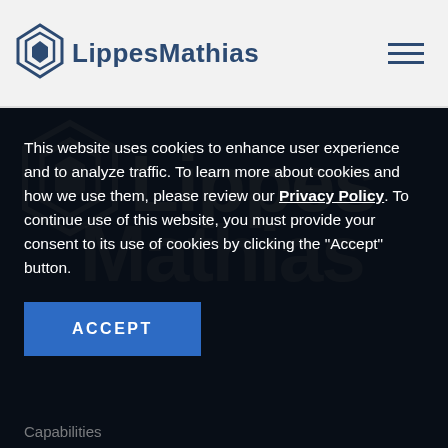[Figure (logo): Lippes Mathias law firm logo with diamond/chevron icon and text]
[Figure (illustration): Blue section background with large semi-transparent Lippes Mathias watermark text and chevron icon]
This website uses cookies to enhance user experience and to analyze traffic. To learn more about cookies and how we use them, please review our Privacy Policy. To continue use of this website, you must provide your consent to its use of cookies by clicking the "Accept" button.
ACCEPT
Capabilities